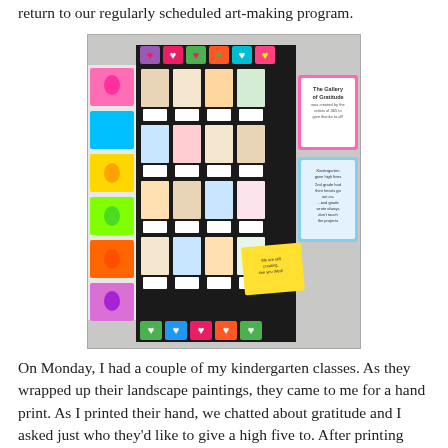return to our regularly scheduled art-making program.
[Figure (photo): A school bulletin board display called 'The Gallery of Gratitude' featuring children's self-portrait drawings arranged on a dark background, surrounded by colorful hand-print artworks on the sides, and heart-decorated tiles along the top and bottom borders. Signs on the right read 'The Gallery of Gratitude was created by the artists of 365 to give thanks to all!' and 'Kindergarten gave high fives, 2nd grade had their hearts go out, co- ... and grade wrote always don't touch the projects.']
On Monday, I had a couple of my kindergarten classes. As they wrapped up their landscape paintings, they came to me for a hand print. As I printed their hand, we chatted about gratitude and I asked just who they'd like to give a high five to. After printing their hands, I jotted down on